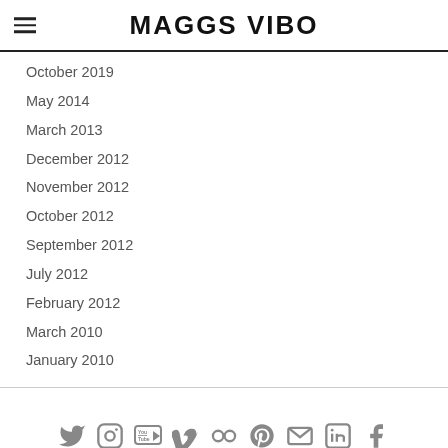MAGGS VIBO
October 2019
May 2014
March 2013
December 2012
November 2012
October 2012
September 2012
July 2012
February 2012
March 2010
January 2010
[Figure (infographic): Row of social media icons: Twitter, Instagram, YouTube, Vimeo, Flickr, Pinterest, Email, LinkedIn, Facebook]